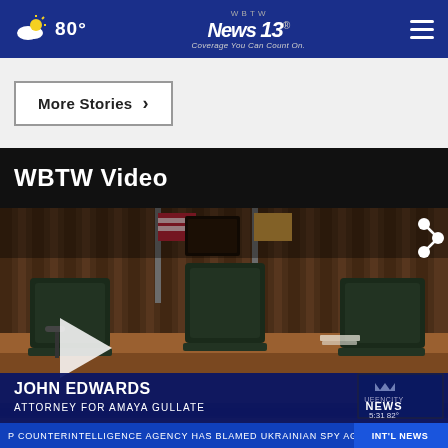80° | WBTW News 13 | Coverage You Can Count On.
More Stories →
WBTW Video
[Figure (screenshot): Video thumbnail showing an empty courtroom with wooden judge's bench, leather chairs, flags in background. Play button visible. Share icon in top right. Lower third shows 'JOHN EDWARDS - ATTORNEY FOR AMAYA GULLATE' with Queen City News bug showing 5:31 and 82°. Ticker reads: 'P COUNTERINTELLIGENCE AGENCY HAS BLAMED UKRAINIAN SPY AGENCIES HAVE ORGANIZED' with 'INT'L NEWS' label on the right.]